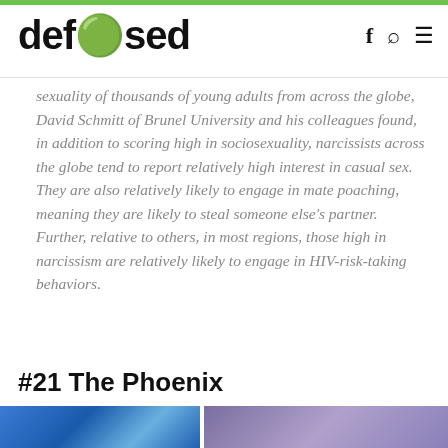defused
sexuality of thousands of young adults from across the globe, David Schmitt of Brunel University and his colleagues found, in addition to scoring high in sociosexuality, narcissists across the globe tend to report relatively high interest in casual sex. They are also relatively likely to engage in mate poaching, meaning they are likely to steal someone else's partner. Further, relative to others, in most regions, those high in narcissism are relatively likely to engage in HIV-risk-taking behaviors.
#21 The Phoenix
[Figure (photo): Partial bottom image strip showing blue and purple photograph sections]